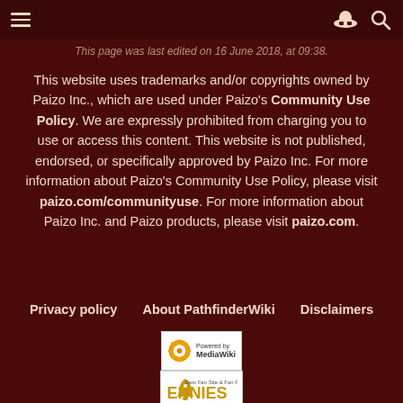This page was last edited on 16 June 2018, at 09:38.
This website uses trademarks and/or copyrights owned by Paizo Inc., which are used under Paizo's Community Use Policy. We are expressly prohibited from charging you to use or access this content. This website is not published, endorsed, or specifically approved by Paizo Inc. For more information about Paizo's Community Use Policy, please visit paizo.com/communityuse. For more information about Paizo Inc. and Paizo products, please visit paizo.com.
Privacy policy
About PathfinderWiki
Disclaimers
[Figure (logo): Powered by MediaWiki logo]
[Figure (logo): ENnies Gold 2012 award badge]